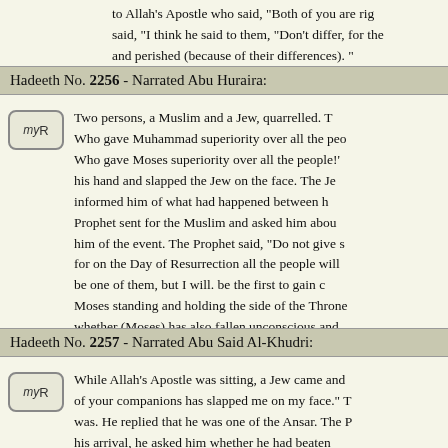to Allah's Apostle who said, "Both of you are right. said, "I think he said to them, "Don't differ, for the and perished (because of their differences). "
Hadeeth No. 2256 - Narrated Abu Huraira:
Two persons, a Muslim and a Jew, quarrelled. T Who gave Muhammad superiority over all the peo Who gave Moses superiority over all the people!' his hand and slapped the Jew on the face. The Je informed him of what had happened between h Prophet sent for the Muslim and asked him abou him of the event. The Prophet said, "Do not give s for on the Day of Resurrection all the people will be one of them, but I will. be the first to gain c Moses standing and holding the side of the Throne whether (Moses) has also fallen unconscious and has exempted him from that stroke."
Hadeeth No. 2257 - Narrated Abu Said Al-Khudri:
While Allah's Apostle was sitting, a Jew came and of your companions has slapped me on my face." was. He replied that he was one of the Ansar. The P his arrival, he asked him whether he had beaten affirmative and) said, "I heard him taking an oath Him Who gave Moses superiority over all the